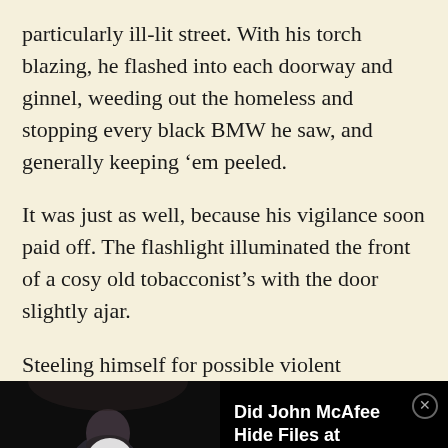particularly ill-lit street. With his torch blazing, he flashed into each doorway and ginnel, weeding out the homeless and stopping every black BMW he saw, and generally keeping 'em peeled.
It was just as well, because his vigilance soon paid off. The flashlight illuminated the front of a cosy old tobacconist's with the door slightly ajar.
Steeling himself for possible violent
[Figure (screenshot): Video advertisement thumbnail showing a man seated, with a play button overlay. Text reads: 'Did John McAfee Hide Files at Collapsed Miami Building?' with a close (X) button.]
himself to 200 cigarettes, which he hid under his helmet.